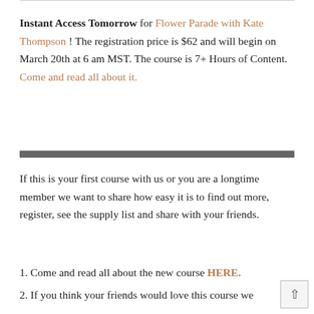Instant Access Tomorrow for Flower Parade with Kate Thompson ! The registration price is $62 and will begin on March 20th at 6 am MST.  The course is 7+ Hours of Content. Come and read all about it.
If this is your first course with us or you are a longtime member we want to share how easy it is to find out more, register, see the supply list and share with your friends.
1. Come and read all about the new course HERE.
2. If you think your friends would love this course we